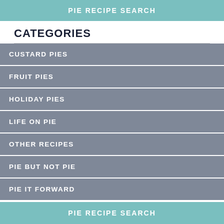PIE RECIPE SEARCH
CATEGORIES
CUSTARD PIES
FRUIT PIES
HOLIDAY PIES
LIFE ON PIE
OTHER RECIPES
PIE BUT NOT PIE
PIE IT FORWARD
PIE RECIPE SEARCH